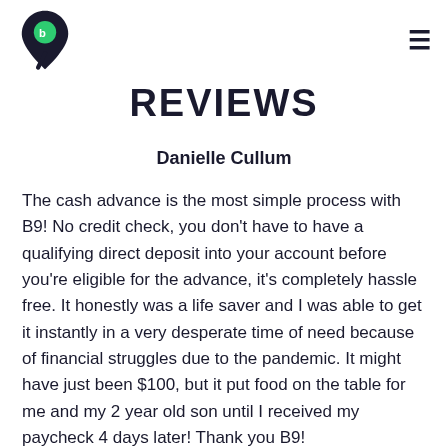B9 logo and navigation
REVIEWS
Danielle Cullum
The cash advance is the most simple process with B9! No credit check, you don't have to have a qualifying direct deposit into your account before you're eligible for the advance, it's completely hassle free. It honestly was a life saver and I was able to get it instantly in a very desperate time of need because of financial struggles due to the pandemic. It might have just been $100, but it put food on the table for me and my 2 year old son until I received my paycheck 4 days later! Thank you B9!